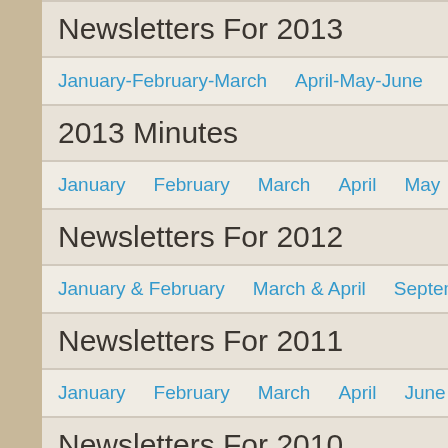Newsletters For 2013
January-February-March   April-May-June   July-August
2013 Minutes
January   February   March   April   May   June   Ju
Newsletters For 2012
January & February   March & April   September & Octo
Newsletters For 2011
January   February   March   April   June   July & Au
Newsletters For 2010
January   November   December